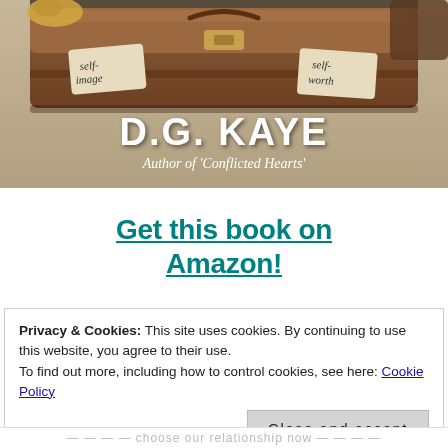[Figure (illustration): Book cover image for D.G. Kaye, Author of 'Conflicted Hearts'. Shows a brown vintage suitcase with labels reading 'self-image' and 'self-worth', on a wooden floor background. Author name D.G. KAYE in large white letters, subtitle 'Author of Conflicted Hearts' below.]
Get this book on Amazon!
Privacy & Cookies: This site uses cookies. By continuing to use this website, you agree to their use.
To find out more, including how to control cookies, see here: Cookie Policy
Close and accept